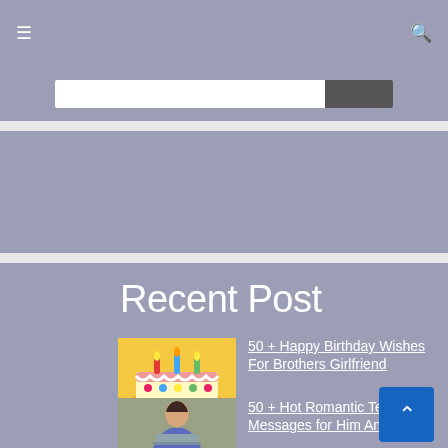Menu | Search
[Figure (screenshot): Search bar with white input field and dark gray button]
[Figure (screenshot): Gray advertisement/content block area]
Recent Post
[Figure (photo): Birthday cake with candles and colorful decorations]
50 + Happy Birthday Wishes For Brothers Girlfriend
[Figure (photo): Woman smiling at laptop]
50 + Hot Romantic Text Messages for Him And Her